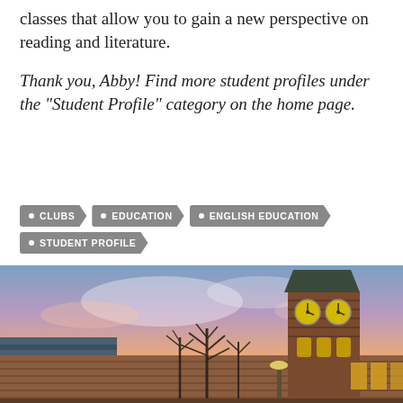classes that allow you to gain a new perspective on reading and literature.
Thank you, Abby! Find more student profiles under the “Student Profile” category on the home page.
CLUBS
EDUCATION
ENGLISH EDUCATION
STUDENT PROFILE
[Figure (photo): Exterior photo of a university building with a clock tower at dusk/sunset, with colorful pink and blue sky and bare trees in the foreground.]